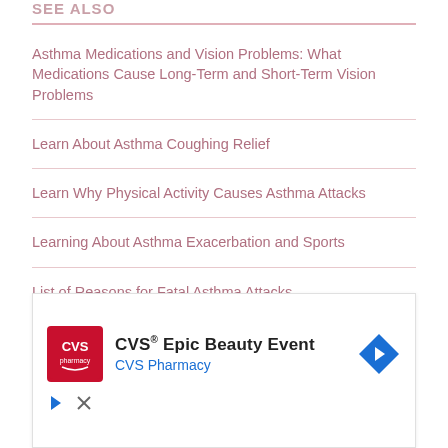SEE ALSO
Asthma Medications and Vision Problems: What Medications Cause Long-Term and Short-Term Vision Problems
Learn About Asthma Coughing Relief
Learn Why Physical Activity Causes Asthma Attacks
Learning About Asthma Exacerbation and Sports
List of Reasons for Fatal Asthma Attacks
[Figure (other): CVS Pharmacy advertisement banner: CVS Epic Beauty Event with CVS Pharmacy logo and navigation arrow]